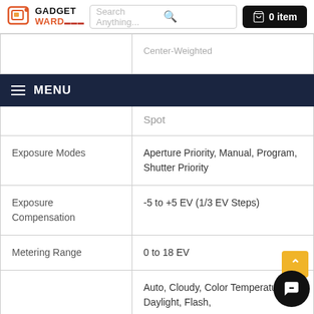[Figure (screenshot): GadgetWard website header with logo, search bar, and cart (0 item)]
MENU
| Feature | Value |
| --- | --- |
|  | Center-Weighted, Spot |
| Exposure Modes | Aperture Priority, Manual, Program, Shutter Priority |
| Exposure Compensation | -5 to +5 EV (1/3 EV Steps) |
| Metering Range | 0 to 18 EV |
|  | Auto, Cloudy, Color Temperature, Daylight, Flash, |